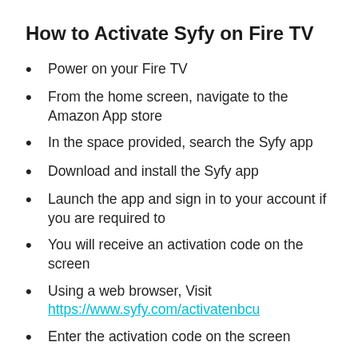How to Activate Syfy on Fire TV
Power on your Fire TV
From the home screen, navigate to the Amazon App store
In the space provided, search the Syfy app
Download and install the Syfy app
Launch the app and sign in to your account if you are required to
You will receive an activation code on the screen
Using a web browser, Visit https://www.syfy.com/activatenbcu
Enter the activation code on the screen